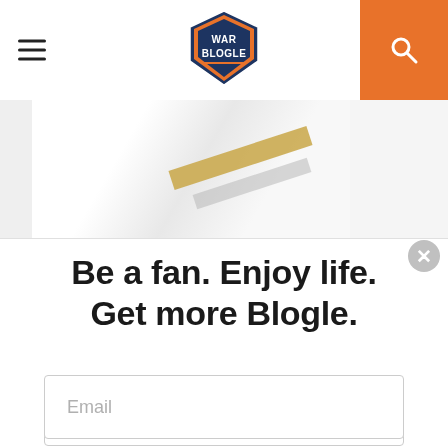War Blogle
[Figure (illustration): Partial banner image with diagonal gold and grey stripes on a light background]
Be a fan. Enjoy life. Get more Blogle.
Email
Sign Up